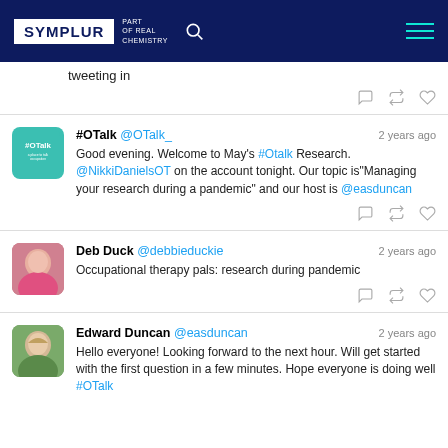SYMPLUR — Part of Real Chemistry
tweeting in
#OTalk @OTalk_ — 2 years ago — Good evening. Welcome to May's #Otalk Research. @NikkiDanielsOT on the account tonight. Our topic is"Managing your research during a pandemic" and our host is @easduncan
Deb Duck @debbieduckie — 2 years ago — Occupational therapy pals: research during pandemic
Edward Duncan @easduncan — 2 years ago — Hello everyone! Looking forward to the next hour. Will get started with the first question in a few minutes. Hope everyone is doing well #OTalk